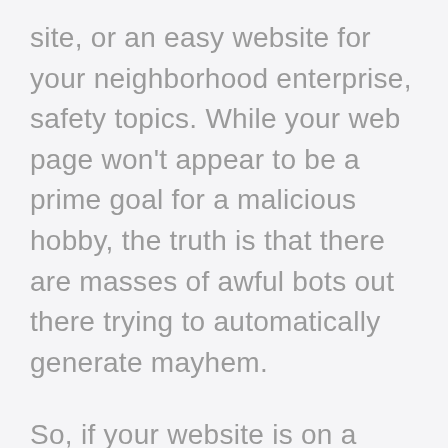site, or an easy website for your neighborhood enterprise, safety topics. While your web page won't appear to be a prime goal for a malicious hobby, the truth is that there are masses of awful bots out there trying to automatically generate mayhem.
So, if your website is on a basic web hosting plan, it is probably worth upgrading to controlled website hosting. For example, controlled WordPress hosting takes care of keeping WordPress up-to-date automatically.